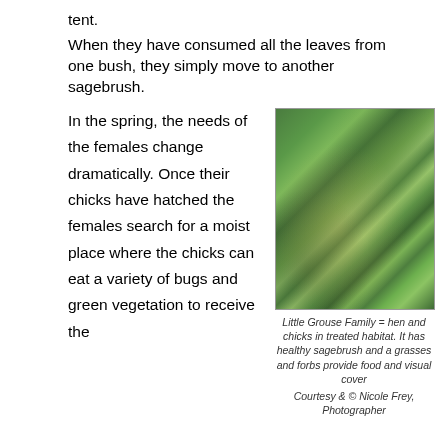tent.
When they have consumed all the leaves from one bush, they simply move to another sagebrush.
In the spring, the needs of the females change dramatically. Once their chicks have hatched the females search for a moist place where the chicks can eat a variety of bugs and green vegetation to receive the
[Figure (photo): Photograph of sagebrush habitat with grasses and forbs, showing a grouse hen and chicks camouflaged in the vegetation.]
Little Grouse Family = hen and chicks in treated habitat. It has healthy sagebrush and a grasses and forbs provide food and visual cover
Courtesy & © Nicole Frey, Photographer